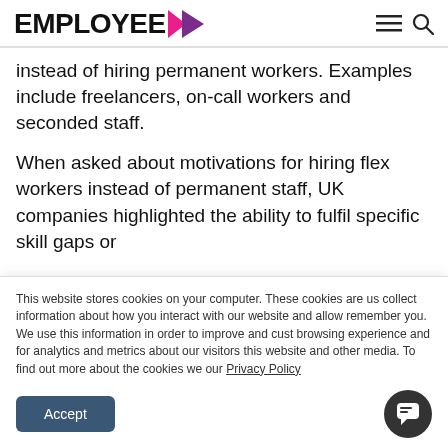EMPLOYEE >
instead of hiring permanent workers. Examples include freelancers, on-call workers and seconded staff.
When asked about motivations for hiring flex workers instead of permanent staff, UK companies highlighted the ability to fulfil specific skill gaps or
This website stores cookies on your computer. These cookies are us collect information about how you interact with our website and allow remember you. We use this information in order to improve and cust browsing experience and for analytics and metrics about our visitors this website and other media. To find out more about the cookies we our Privacy Policy